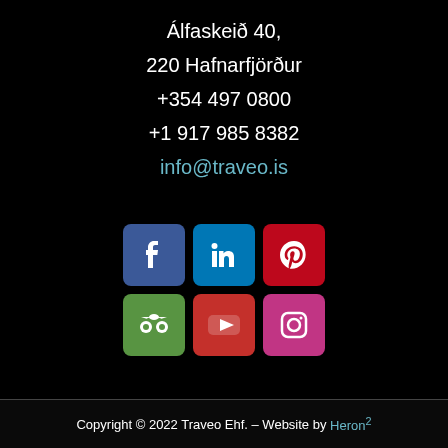Álfaskeið 40,
220 Hafnarfjörður
+354 497 0800
+1 917 985 8382
info@traveo.is
[Figure (infographic): Six social media icon buttons in a 3x2 grid: Facebook (dark blue), LinkedIn (blue), Pinterest (red), TripAdvisor (green), YouTube (red), Instagram (pink/red)]
Copyright © 2022 Traveo Ehf. – Website by Heron²